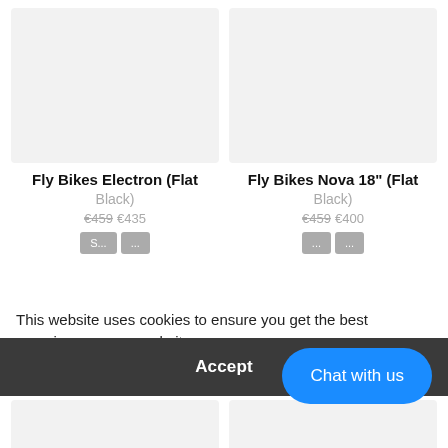[Figure (photo): Product image placeholder (light gray box) for Fly Bikes Electron Flat Black]
[Figure (photo): Product image placeholder (light gray box) for Fly Bikes Nova 18 Flat Black]
Fly Bikes Electron (Flat Black)
Fly Bikes Nova 18" (Flat Black)
€459 €435
€459 €400
This website uses cookies to ensure you get the best experience on our website.
Learn More
Accept
Chat with us